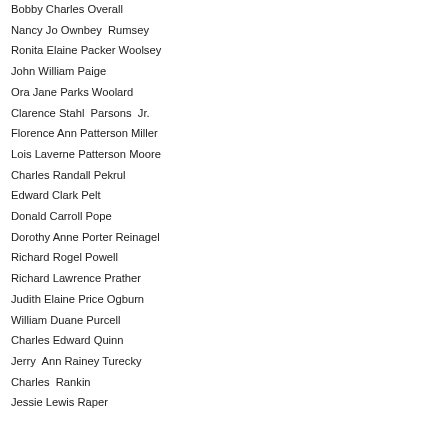Bobby Charles Overall
Nancy Jo Ownbey  Rumsey
Ronita Elaine Packer Woolsey
John William Paige
Ora Jane Parks Woolard
Clarence Stahl  Parsons  Jr.
Florence Ann Patterson Miller
Lois Laverne Patterson Moore
Charles Randall Pekrul
Edward Clark Pelt
Donald Carroll Pope
Dorothy Anne Porter Reinagel
Richard Rogel Powell
Richard Lawrence Prather
Judith Elaine Price Ogburn
William Duane Purcell
Charles Edward Quinn
Jerry  Ann Rainey Turecky
Charles  Rankin
Jessie Lewis Raper